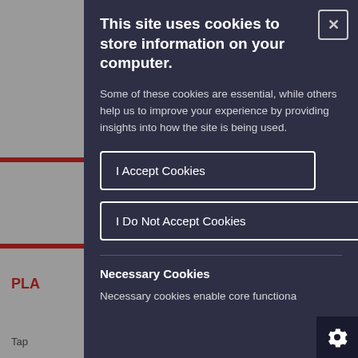This site uses cookies to store information on your computer.
Some of these cookies are essential, while others help us to improve your experience by providing insights into how the site is being used.
I Accept Cookies
I Do Not Accept Cookies
Necessary Cookies
Necessary cookies enable core functiona